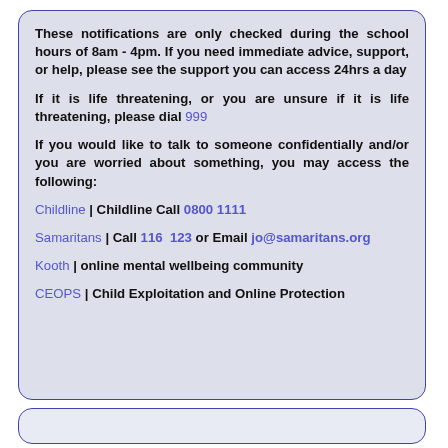These notifications are only checked during the school hours of 8am - 4pm. If you need immediate advice, support, or help, please see the support you can access 24hrs a day
If it is life threatening, or you are unsure if it is life threatening, please dial 999
If you would like to talk to someone confidentially and/or you are worried about something, you may access the following:
Childline | Childline Call 0800 1111
Samaritans | Call 116 123 or Email jo@samaritans.org
Kooth | online mental wellbeing community
CEOPS | Child Exploitation and Online Protection